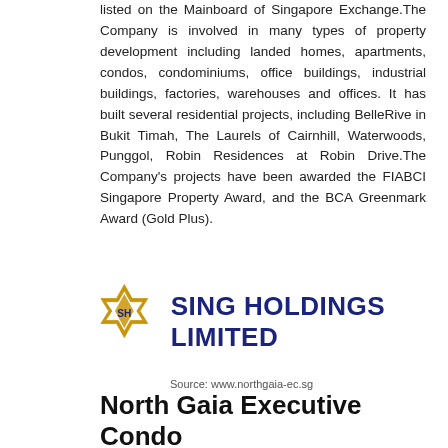listed on the Mainboard of Singapore Exchange.The Company is involved in many types of property development including landed homes, apartments, condos, condominiums, office buildings, industrial buildings, factories, warehouses and offices. It has built several residential projects, including BelleRive in Bukit Timah, The Laurels of Cairnhill, Waterwoods, Punggol, Robin Residences at Robin Drive.The Company's projects have been awarded the FIABCI Singapore Property Award, and the BCA Greenmark Award (Gold Plus).
[Figure (logo): Sing Holdings Limited logo — gold star-of-David shaped emblem with SH initials, beside dark blue bold text SING HOLDINGS LIMITED]
Source: www.northgaia-ec.sg
North Gaia Executive Condo